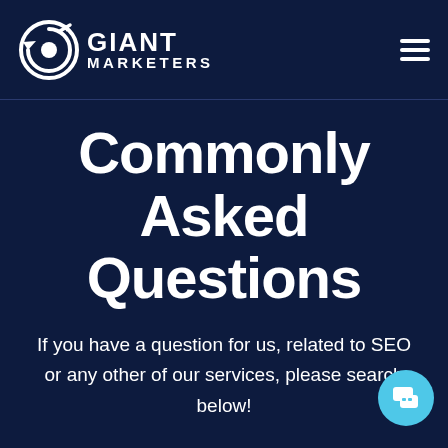Giant Marketers
Commonly Asked Questions
If you have a question for us, related to SEO or any other of our services, please search below!